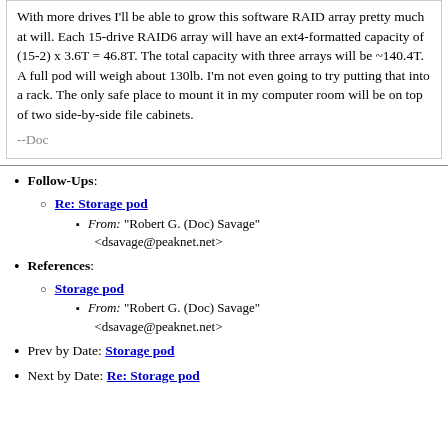With more drives I'll be able to grow this software RAID array pretty much at will. Each 15-drive RAID6 array will have an ext4-formatted capacity of (15-2) x 3.6T = 46.8T. The total capacity with three arrays will be ~140.4T. A full pod will weigh about 130lb. I'm not even going to try putting that into a rack. The only safe place to mount it in my computer room will be on top of two side-by-side file cabinets.
--Doc
Follow-Ups:
Re: Storage pod
From: "Robert G. (Doc) Savage" <dsavage@peaknet.net>
References:
Storage pod
From: "Robert G. (Doc) Savage" <dsavage@peaknet.net>
Prev by Date: Storage pod
Next by Date: Re: Storage pod